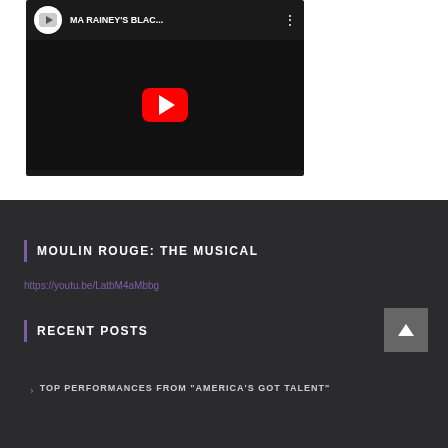[Figure (screenshot): YouTube video thumbnail for 'MA RAINEY'S BLAC...' showing a dark background with a YouTube play button interface including channel logo circle, video title text, three-dot menu, and large red play button on dark video preview]
https://youtu.be/LatbM4aMbbg
MOULIN ROUGE: THE MUSICAL
RECENT POSTS
TOP PERFORMANCES FROM "AMERICA'S GOT TALENT"